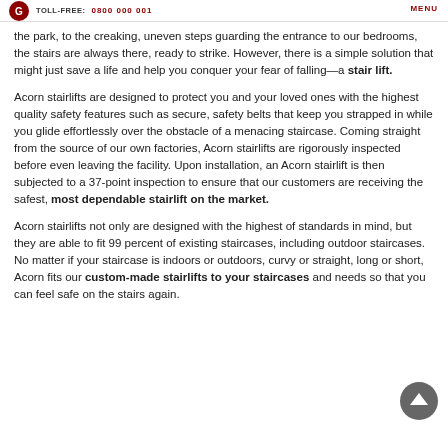TOLL-FREE: 0800 000 001  MENU
the park, to the creaking, uneven steps guarding the entrance to our bedrooms, the stairs are always there, ready to strike. However, there is a simple solution that might just save a life and help you conquer your fear of falling—a stair lift.
Acorn stairlifts are designed to protect you and your loved ones with the highest quality safety features such as secure, safety belts that keep you strapped in while you glide effortlessly over the obstacle of a menacing staircase. Coming straight from the source of our own factories, Acorn stairlifts are rigorously inspected before even leaving the facility. Upon installation, an Acorn stairlift is then subjected to a 37-point inspection to ensure that our customers are receiving the safest, most dependable stairlift on the market.
Acorn stairlifts not only are designed with the highest of standards in mind, but they are able to fit 99 percent of existing staircases, including outdoor staircases. No matter if your staircase is indoors or outdoors, curvy or straight, long or short, Acorn fits our custom-made stairlifts to your staircases and needs so that you can feel safe on the stairs again.